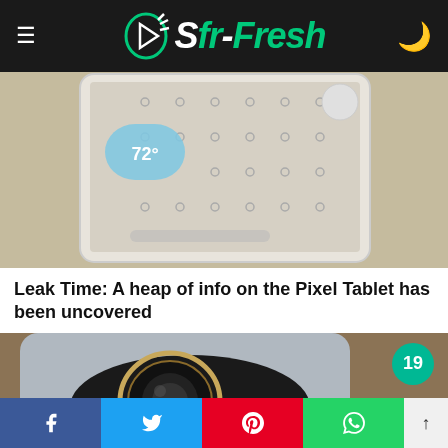Sfr-Fresh
[Figure (photo): Pixel Tablet showing home screen with weather widget displaying 72 degrees, lock screen dots pattern on beige background]
Leak Time: A heap of info on the Pixel Tablet has been uncovered
[Figure (photo): Close-up of a smartphone camera module with gold ring around large circular lens on dark oval module, badge showing number 19]
Social share buttons: Facebook, Twitter, Pinterest, WhatsApp, scroll to top